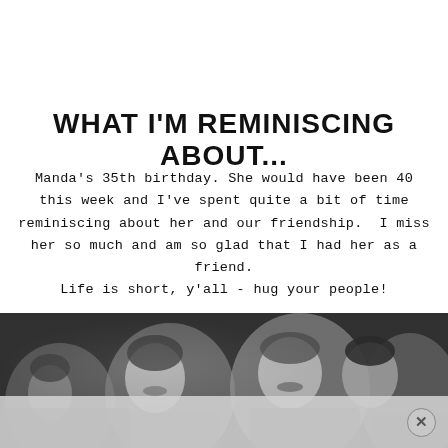WHAT I'M REMINISCING ABOUT...
Manda's 35th birthday. She would have been 40 this week and I've spent quite a bit of time reminiscing about her and our friendship. I miss her so much and am so glad that I had her as a friend. Life is short, y'all - hug your people!
[Figure (photo): Black and white photo of a group of women smiling and celebrating together]